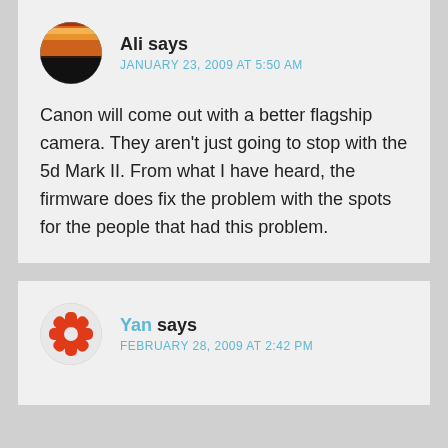[Figure (photo): Circular avatar showing a sunset landscape with orange sky and dark silhouette]
Ali says
JANUARY 23, 2009 AT 5:50 AM
Canon will come out with a better flagship camera. They aren't just going to stop with the 5d Mark II. From what I have heard, the firmware does fix the problem with the spots for the people that had this problem.
[Figure (logo): Circular avatar with red/orange star or asterisk-like icon on light background]
Yan says
FEBRUARY 28, 2009 AT 2:42 PM